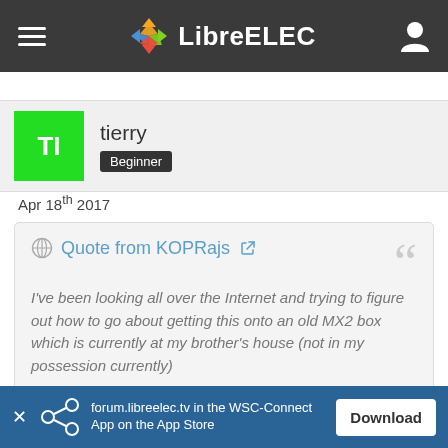LibreELEC
tierry
Beginner
Apr 18th 2017
Quote from KOPRajs
I've been looking all over the Internet and trying to figure out how to go about getting this onto an old MX2 box which is currently at my brother's house (not in my possession currently)
Display More
forum.libreelec.tv in the WSC-Connect App on the App Store
Download